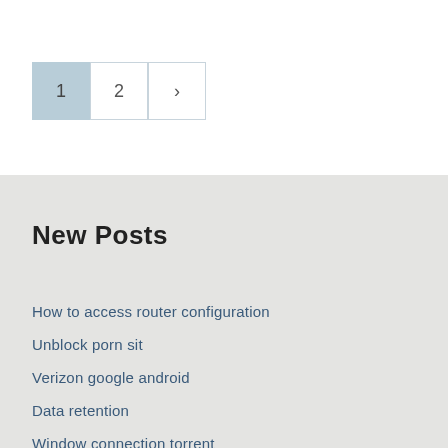1
2
>
New Posts
How to access router configuration
Unblock porn sit
Verizon google android
Data retention
Window connection torrent